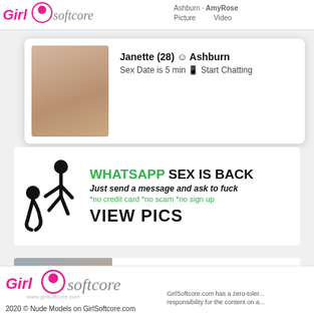GirlSoftcore | Ashburn · AmyRose · Picture · Video
[Figure (screenshot): Popup ad showing a woman photo with name Janette (28) from Ashburn, Sex Date is 5 min, Start Chatting]
Janette (28) ☺ Ashburn
Sex Date is 5 min 📱 Start Chatting
[Figure (infographic): WhatsApp SEX IS BACK ad with silhouette figure. Text: Just send a message and ask to fuck. *no credit card *no scam *no sign up. VIEW PICS]
[Figure (infographic): TikTok Adult Version ad with image on left and TikTok logo, ADULT VERSION text, TAP HERE button]
GirlSoftcore.com has a zero-toler... responsibility for the content on a...
2020 © Nude Models on GirlSoftcore.com